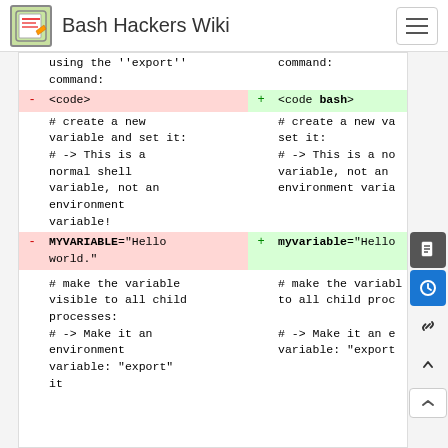Bash Hackers Wiki
using the ''export'' command:
command:
- <code>
+ <code bash>
# create a new variable and set it:
# -> This is a normal shell variable, not an environment variable!
# create a new va set it:
# -> This is a no variable, not an environment varia
- MYVARIABLE="Hello world."
+ myvariable="Hello
# make the variable visible to all child processes:
# -> Make it an environment variable: "export" it
# make the variabl to all child proc
# -> Make it an e variable: "export